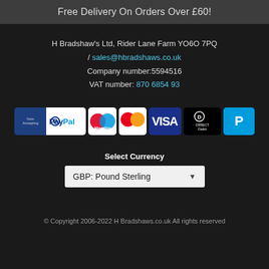Free Delivery On Orders Over £60!
H Bradshaw's Ltd, Rider Lane Farm YO6O 7PQ / sales@hbradshaws.co.uk
Company number:5594516
VAT number: 870 6854 93
[Figure (infographic): Row of payment method logos: Now Accepting PayPal badge, Maestro, MasterCard, Visa, Direct Debit, PayPal]
Select Currency
GBP: Pound Sterling
© Copyright 2006-2022 H Bradshaws.co.uk All rights reserved